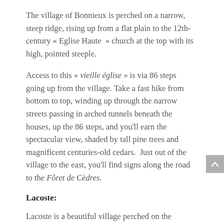The village of Bonnieux is perched on a narrow, steep ridge, rising up from a flat plain to the 12th-century « Eglise Haute » church at the top with its high, pointed steeple.
Access to this « vieille église » is via 86 steps going up from the village. Take a fast hike from bottom to top, winding up through the narrow streets passing in arched tunnels beneath the houses, up the 86 steps, and you'll earn the spectacular view, shaded by tall pine trees and magnificent centuries-old cedars. Just out of the village to the east, you'll find signs along the road to the Fôret de Cèdres.
Lacoste:
Lacoste is a beautiful village perched on the